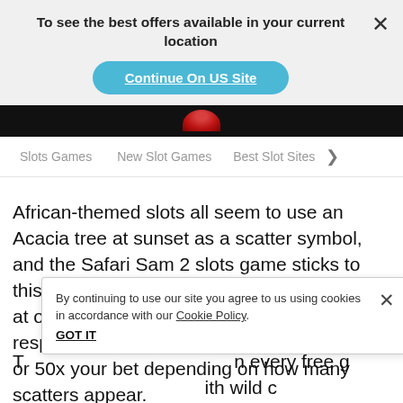To see the best offers available in your current location
Continue On US Site
Slots Games   New Slot Games   Best Slot Sites >
African-themed slots all seem to use an Acacia tree at sunset as a scatter symbol, and the Safari Sam 2 slots game sticks to this tradition. The tree in any 3, 4, or 5 places at once will award 7, 12, or 20 free spins respectively. You also get a prize of 3x, 12x, or 50x your bet depending on how many scatters appear.
By continuing to use our site you agree to us using cookies in accordance with our Cookie Policy.
GOT IT